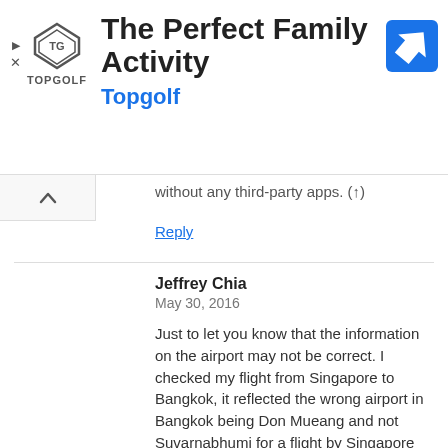[Figure (screenshot): Advertisement banner for Topgolf showing logo, title 'The Perfect Family Activity', subtitle 'Topgolf', and a blue navigation/directions icon.]
without any third-party apps. (↑)
Reply
Jeffrey Chia
May 30, 2016

Just to let you know that the information on the airport may not be correct. I checked my flight from Singapore to Bangkok, it reflected the wrong airport in Bangkok being Don Mueang and not Suvarnabhumi for a flight by Singapore Airlines.
Reply
Michel
May 27, 2016

It works here in Paris with an international Air France flight.